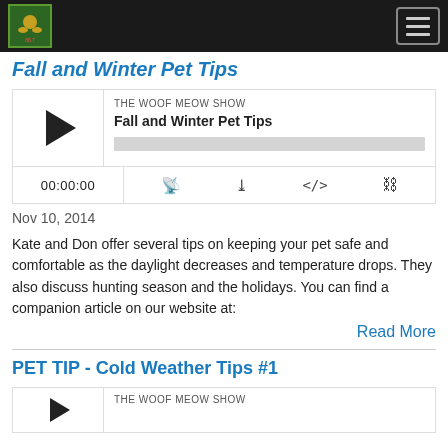The Woof Meow Show - navigation header
Fall and Winter Pet Tips
[Figure (screenshot): Podcast player widget for 'Fall and Winter Pet Tips' episode from The Woof Meow Show, showing play button, episode title, progress bar, time 00:00:00, and control icons]
Nov 10, 2014
Kate and Don offer several tips on keeping your pet safe and comfortable as the daylight decreases and temperature drops. They also discuss hunting season and the holidays. You can find a companion article on our website at:
Read More
PET TIP - Cold Weather Tips #1
[Figure (screenshot): Podcast player widget for second episode from The Woof Meow Show (partially visible), showing play button and show name]